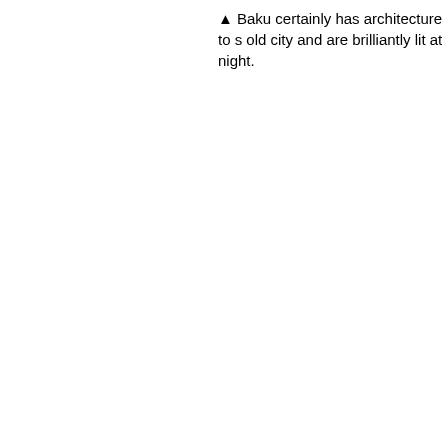▲ Baku certainly has architecture to s old city and are brilliantly lit at night.